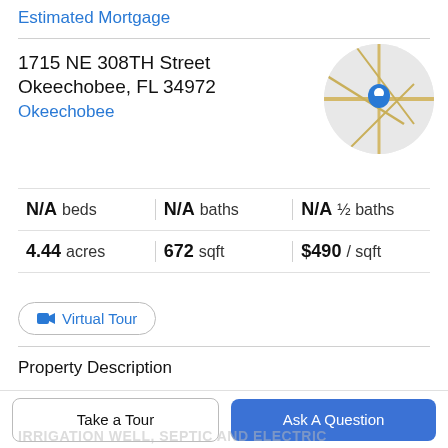Estimated Mortgage
1715 NE 308TH Street
Okeechobee, FL 34972
Okeechobee
[Figure (map): Circular map thumbnail showing road map with blue location pin marker]
N/A beds | N/A baths | N/A ½ baths | 4.44 acres | 672 sqft | $490 / sqft
Virtual Tour
Property Description
COMMERCIAL PROPERTY - 4.45 ACRES WITH APPROXIMATELY 302' HIGHWAY 441 FRONTAGE -
Take a Tour
Ask A Question
IRRIGATION WELL, SEPTIC AND ELECTRIC